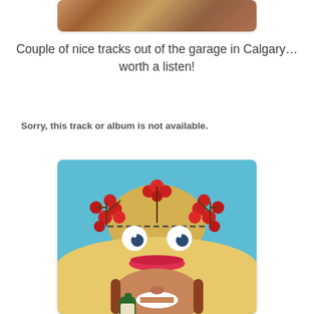[Figure (photo): Top portion of a photo showing what appears to be a person, cropped at top of page inside a card with rounded corners and shadow]
Couple of nice tracks out of the garage in Calgary… worth a listen!
Sorry, this track or album is not available.
[Figure (photo): Vintage-style humorous photo of a person wearing a large straw hat decorated with googly eyes, red berry decorations, and a stitched eyebrow line, with red lips on the hat brim, holding a green bottle below their smiling face, against a bright blue sky background]